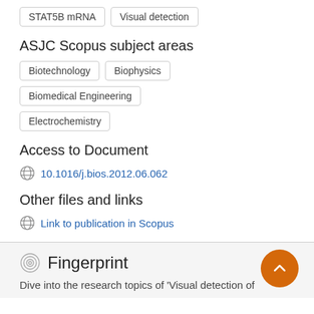STAT5B mRNA
Visual detection
ASJC Scopus subject areas
Biotechnology
Biophysics
Biomedical Engineering
Electrochemistry
Access to Document
10.1016/j.bios.2012.06.062
Other files and links
Link to publication in Scopus
Fingerprint
Dive into the research topics of 'Visual detection of